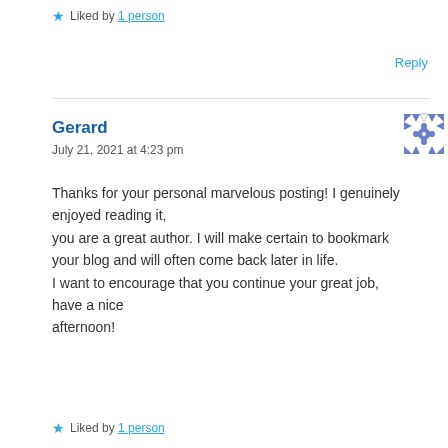★ Liked by 1 person
Reply
Gerard
July 21, 2021 at 4:23 pm
Thanks for your personal marvelous posting! I genuinely enjoyed reading it, you are a great author. I will make certain to bookmark your blog and will often come back later in life. I want to encourage that you continue your great job, have a nice afternoon!
★ Liked by 1 person